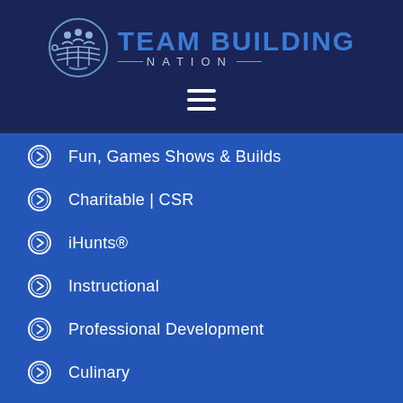[Figure (logo): Team Building Nation logo with circular icon and text]
Fun, Games Shows & Builds
Charitable | CSR
iHunts®
Instructional
Professional Development
Culinary
Large Groups
Collegiate
Self-Led Team Builds